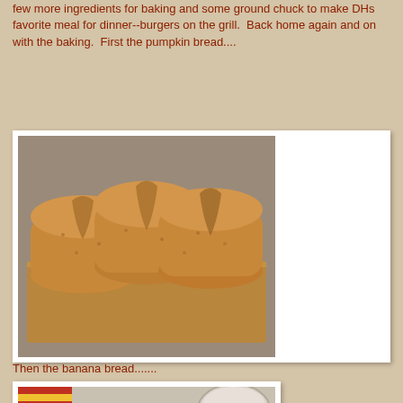few more ingredients for baking and some ground chuck to make DHs favorite meal for dinner--burgers on the grill.  Back home again and on with the baking.  First the pumpkin bread....
[Figure (photo): Three loaves of freshly baked pumpkin bread on a wooden cutting board, viewed from above at slight angle. The loaves are golden-brown with characteristic cracks along the top.]
Then the banana bread.......
[Figure (photo): Two loaves of freshly baked banana bread on a cooling rack, viewed from above. Colorful striped fabric visible in upper left corner.]